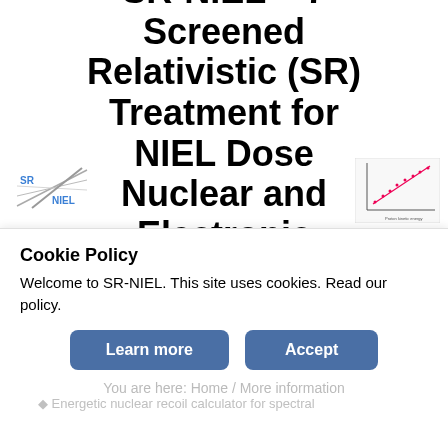SR-NIEL – 7 Screened Relativistic (SR) Treatment for NIEL Dose Nuclear and Electronic Stopping Power Calculator
[Figure (logo): SR-NIEL logo with two intersecting diagonal lines and text SR and NIEL]
[Figure (continuous-plot): Small scatter/line plot chart thumbnail showing data points and a fitted line]
(version 9.0)
Cookie Policy
Welcome to SR-NIEL. This site uses cookies. Read our policy.
Learn more
Accept
You are here: Home / More information
Energetic nuclear recoil calculator for spectral